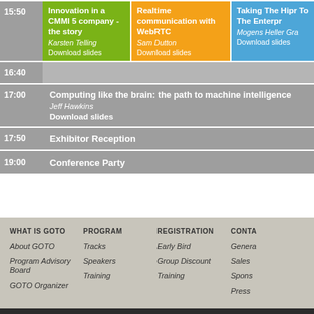| Time | Track 1 | Track 2 | Track 3 |
| --- | --- | --- | --- |
| 15:50 | Innovation in a CMMI 5 company - the story
Karsten Telling
Download slides | Realtime communication with WebRTC
Sam Dutton
Download slides | Taking The Hipr To The Enterpr
Mogens Heller Gra
Download slides |
| 16:40 |  |  |  |
| 17:00 | Computing like the brain: the path to machine intelligence
Jeff Hawkins
Download slides |  |  |
| 17:50 | Exhibitor Reception |  |  |
| 19:00 | Conference Party |  |  |
WHAT IS GOTO
PROGRAM
REGISTRATION
CONTA
About GOTO
Tracks
Early Bird
Genera
Program Advisory Board
Speakers
Group Discount
Sales
GOTO Organizer
Training
Training
Spons
Press